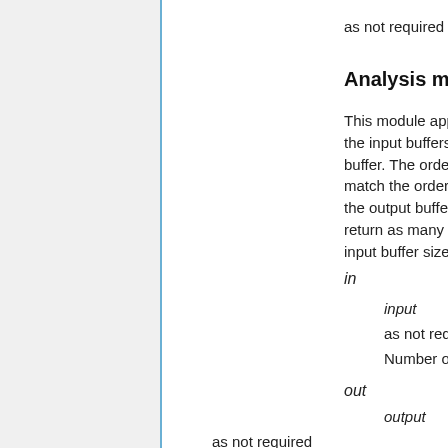as not required
Analysis module: append
This module appends all the values of the input buffers to a single output buffer. The order of the buffers will match the order their values appear in the output buffer. This module will return as many value as the sum of the input buffer sizes.
in
input
as not required
Number of inputs: At least one
out
output
as not required
Analysis module: fft